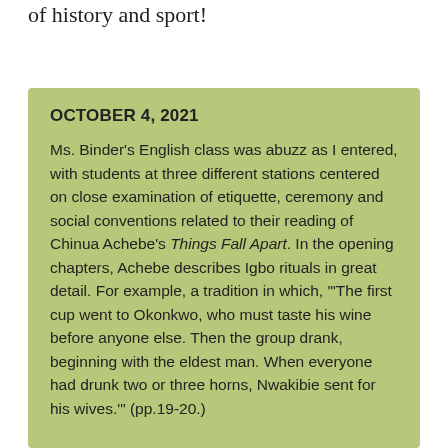of history and sport!
OCTOBER 4, 2021
Ms. Binder's English class was abuzz as I entered, with students at three different stations centered on close examination of etiquette, ceremony and social conventions related to their reading of Chinua Achebe's Things Fall Apart. In the opening chapters, Achebe describes Igbo rituals in great detail. For example, a tradition in which, '"The first cup went to Okonkwo, who must taste his wine before anyone else. Then the group drank, beginning with the eldest man. When everyone had drunk two or three horns, Nwakibie sent for his wives.'" (pp.19-20.)